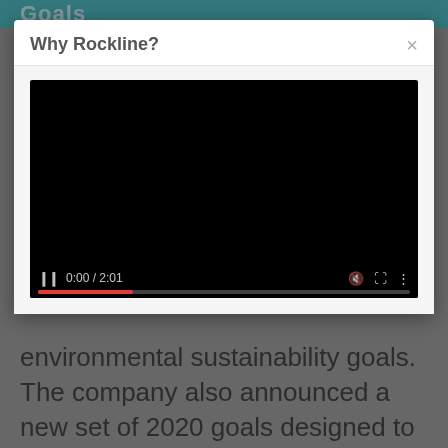Goals
Why Rockline?
[Figure (screenshot): Video player showing a black screen with video controls: pause button, time display 0:00 / 2:01, mute icon, fullscreen icon, and more options icon. A progress bar is shown at the bottom.]
environmental sustainability goals. The company also announced a new set of 2020 goals designed to demonstrate Rockline's continued commitment.